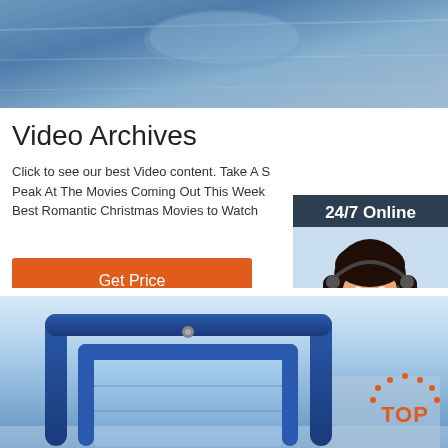[Figure (photo): Top cropped photo showing blue inflatable or tent material with light blue/grey colors]
Video Archives
Click to see our best Video content. Take A Sneak Peak At The Movies Coming Out This Week Best Romantic Christmas Movies to Watch
Get Price
[Figure (photo): Sidebar widget showing 24/7 Online badge, woman with headset customer service agent, Click here for free chat! text, and QUOTATION orange button]
[Figure (photo): Bottom photo showing blue inflatable arch/frame structure outdoors with TOP logo overlay in bottom right]